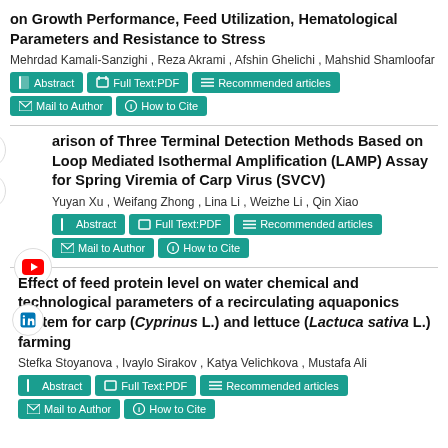on Growth Performance, Feed Utilization, Hematological Parameters and Resistance to Stress
Mehrdad Kamali-Sanzighi , Reza Akrami , Afshin Ghelichi , Mahshid Shamloofar
Abstract | Full Text:PDF | Recommended articles | Mail to Author | How to Cite
Comparison of Three Terminal Detection Methods Based on Loop Mediated Isothermal Amplification (LAMP) Assay for Spring Viremia of Carp Virus (SVCV)
Yuyan Xu , Weifang Zhong , Lina Li , Weizhe Li , Qin Xiao
Abstract | Full Text:PDF | Recommended articles | Mail to Author | How to Cite
Effect of feed protein level on water chemical and technological parameters of a recirculating aquaponics system for carp (Cyprinus L.) and lettuce (Lactuca sativa L.) farming
Stefka Stoyanova , Ivaylo Sirakov , Katya Velichkova , Mustafa Ali
Abstract | Full Text:PDF | Recommended articles | Mail to Author | How to Cite